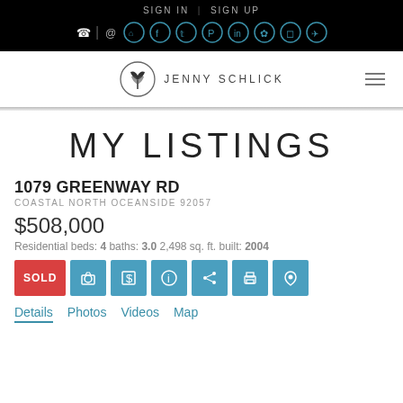SIGN IN | SIGN UP — Social icons row with phone, @, and platform icons
[Figure (logo): Jenny Schlick real estate agent logo with tree icon in circle and navigation hamburger menu]
MY LISTINGS
1079 GREENWAY RD
COASTAL NORTH OCEANSIDE 92057
$508,000
Residential beds: 4 baths: 3.0 2,498 sq. ft. built: 2004
[Figure (infographic): Action buttons row: SOLD (red), camera, dollar, info, share, print, map pin icons (blue)]
Details  Photos  Videos  Map